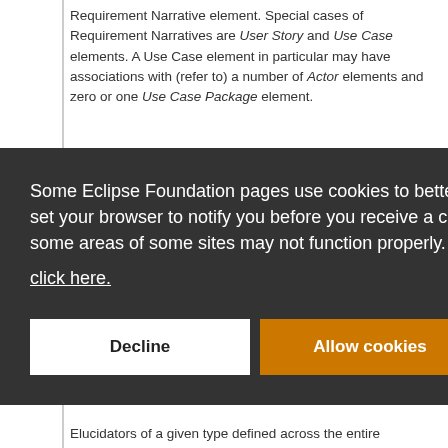Requirement Narrative element. Special cases of Requirement Narratives are User Story and Use Case elements. A Use Case element in particular may have associations with (refer to) a number of Actor elements and zero or one Use Case Package element.
Some Eclipse Foundation pages use cookies to better serve you when you return to the site. You can set your browser to notify you before you receive a cookie or turn off cookies. If you do so, however, some areas of some sites may not function properly. To read Eclipse Foundation Privacy Policy click here.
Elucidators of a given type defined across the entire